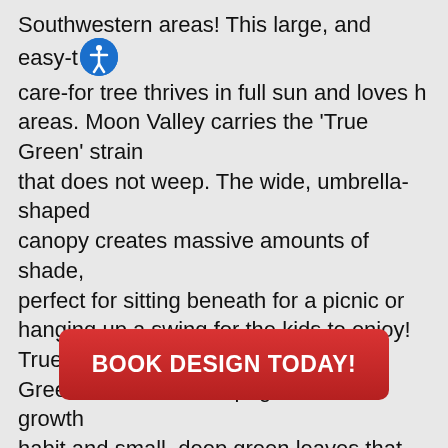Southwestern areas! This large, and easy-to-care-for tree thrives in full sun and loves hot areas. Moon Valley carries the 'True Green' strain that does not weep. The wide, umbrella-shaped canopy creates massive amounts of shade, perfect for sitting beneath for a picnic or hanging up a swing for the kids to enjoy! True Green elms have an upright, rounded growth habit and small, deep green leaves that are a favorite among homeowners.
BOOK DESIGN TODAY!